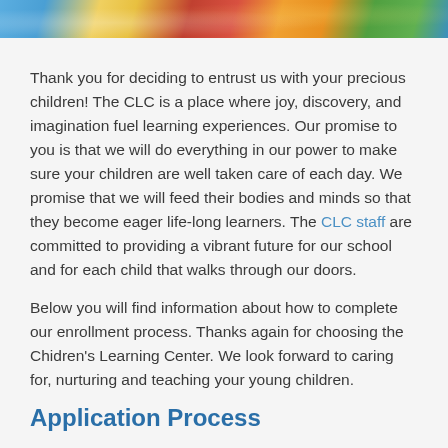[Figure (photo): Partial photo of children with colorful toys/cups at the top of the page]
Thank you for deciding to entrust us with your precious children! The CLC is a place where joy, discovery, and imagination fuel learning experiences. Our promise to you is that we will do everything in our power to make sure your children are well taken care of each day. We promise that we will feed their bodies and minds so that they become eager life-long learners. The CLC staff are committed to providing a vibrant future for our school and for each child that walks through our doors.
Below you will find information about how to complete our enrollment process. Thanks again for choosing the Chidren's Learning Center. We look forward to caring for, nurturing and teaching your young children.
Application Process